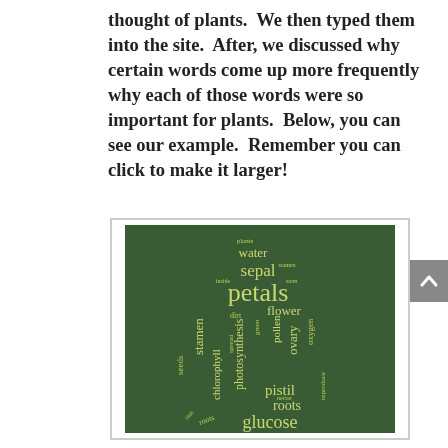thought of plants.  We then typed them into the site.  After, we discussed why certain words come up more frequently why each of those words were so important for plants.  Below, you can see our example.  Remember you can click to make it larger!
[Figure (infographic): A word cloud in the shape of a plant/tree on a dark green background. Words related to plants are displayed in various sizes and orientations in a yellowish-green color. Words include: plants, water, sepal, petals, flower, dirt, stamen, seeds, chlorophyll, photosynthesis, pollen, ovary, pistil, roots, glucose, oxygen, reproduce.]